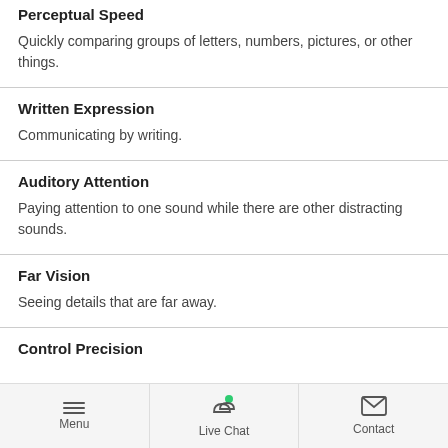Perceptual Speed
Quickly comparing groups of letters, numbers, pictures, or other things.
Written Expression
Communicating by writing.
Auditory Attention
Paying attention to one sound while there are other distracting sounds.
Far Vision
Seeing details that are far away.
Control Precision
Menu | Live Chat | Contact